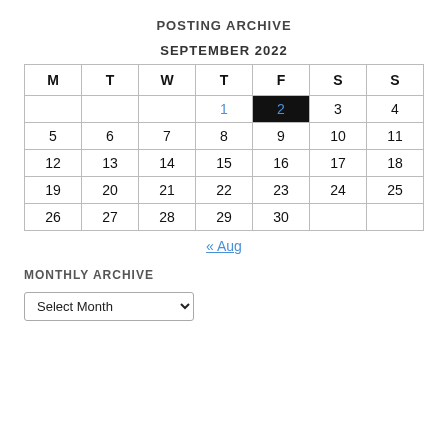POSTING ARCHIVE
SEPTEMBER 2022
| M | T | W | T | F | S | S |
| --- | --- | --- | --- | --- | --- | --- |
|  |  |  | 1 | 2 | 3 | 4 |
| 5 | 6 | 7 | 8 | 9 | 10 | 11 |
| 12 | 13 | 14 | 15 | 16 | 17 | 18 |
| 19 | 20 | 21 | 22 | 23 | 24 | 25 |
| 26 | 27 | 28 | 29 | 30 |  |  |
« Aug
MONTHLY ARCHIVE
Select Month